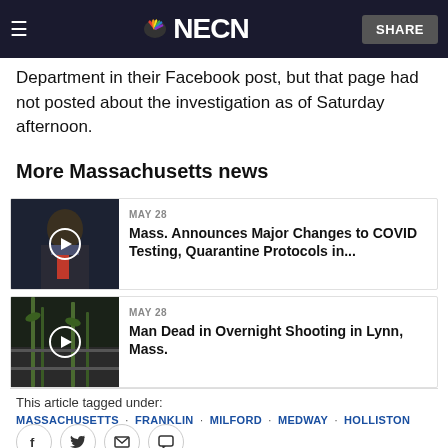NECN | SHARE
Department in their Facebook post, but that page had not posted about the investigation as of Saturday afternoon.
More Massachusetts news
MAY 28
Mass. Announces Major Changes to COVID Testing, Quarantine Protocols in...
MAY 28
Man Dead in Overnight Shooting in Lynn, Mass.
This article tagged under:
MASSACHUSETTS · FRANKLIN · MILFORD · MEDWAY · HOLLISTON